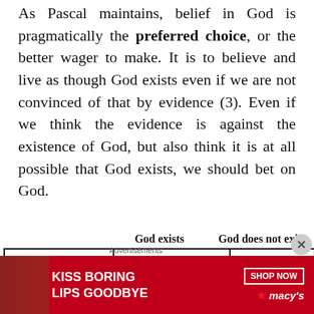As Pascal maintains, belief in God is pragmatically the preferred choice, or the better wager to make. It is to believe and live as though God exists even if we are not convinced of that by evidence (3). Even if we think the evidence is against the existence of God, but also think it is at all possible that God exists, we should bet on God.
|  | God exists | God does not exist |
| --- | --- | --- |
| You believe in God | Eternal happiness (=Heaven) | Nothing happens |
[Figure (photo): Advertisement banner: 'KISS BORING LIPS GOODBYE' with woman's face and red lipstick, SHOP NOW button and Macys logo]